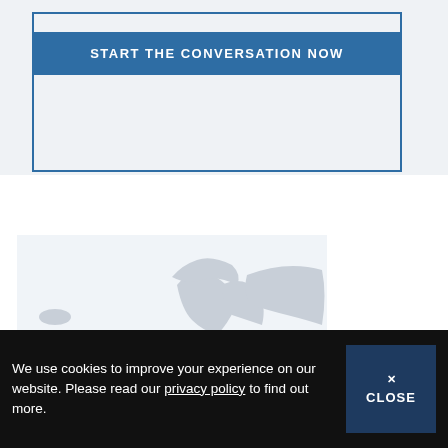START THE CONVERSATION NOW
[Figure (map): A grey map of Europe with a small cyan/blue highlighted area in central Europe (appears to be Slovakia or Hungary region).]
We use cookies to improve your experience on our website. Please read our privacy policy to find out more.
x CLOSE